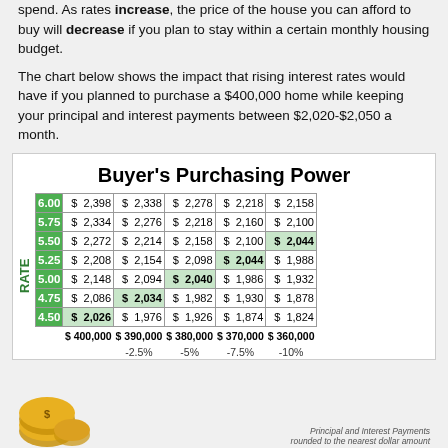spend. As rates increase, the price of the house you can afford to buy will decrease if you plan to stay within a certain monthly housing budget.
The chart below shows the impact that rising interest rates would have if you planned to purchase a $400,000 home while keeping your principal and interest payments between $2,020-$2,050 a month.
Buyer's Purchasing Power
| RATE | $400,000 | $390,000 | $380,000 | $370,000 | $360,000 |
| --- | --- | --- | --- | --- | --- |
| 6.00 | $ 2,398 | $ 2,338 | $ 2,278 | $ 2,218 | $ 2,158 |
| 5.75 | $ 2,334 | $ 2,276 | $ 2,218 | $ 2,160 | $ 2,100 |
| 5.50 | $ 2,272 | $ 2,214 | $ 2,158 | $ 2,100 | $ 2,044 |
| 5.25 | $ 2,208 | $ 2,154 | $ 2,098 | $ 2,044 | $ 1,988 |
| 5.00 | $ 2,148 | $ 2,094 | $ 2,040 | $ 1,986 | $ 1,932 |
| 4.75 | $ 2,086 | $ 2,034 | $ 1,982 | $ 1,930 | $ 1,878 |
| 4.50 | $ 2,026 | $ 1,976 | $ 1,926 | $ 1,874 | $ 1,824 |
$ 400,000  $ 390,000  $ 380,000  $ 370,000  $ 360,000
-2.5%  -5%  -7.5%  -10%
Principal and Interest Payments rounded to the nearest dollar amount